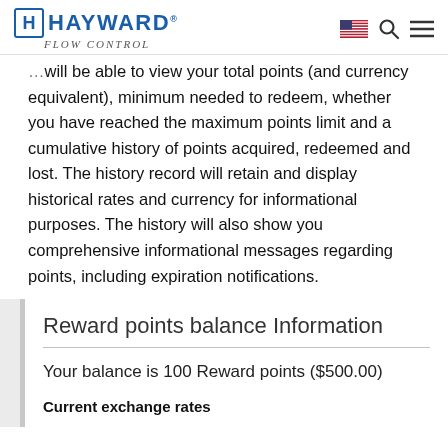HAYWARD FLOW CONTROL
will be able to view your total points (and currency equivalent), minimum needed to redeem, whether you have reached the maximum points limit and a cumulative history of points acquired, redeemed and lost. The history record will retain and display historical rates and currency for informational purposes. The history will also show you comprehensive informational messages regarding points, including expiration notifications.
Reward points balance Information
Your balance is 100 Reward points ($500.00)
Current exchange rates